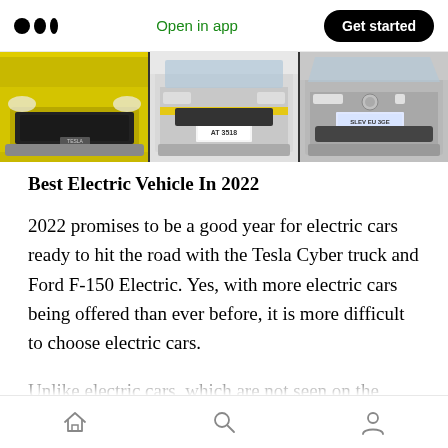Medium app header — Open in app | Get started
[Figure (photo): Three electric vehicles shown from the front, side by side: a yellow EV on the left, a silver/white van-style EV in the center with license plate 'AT 3518', and a silver EV on the right with license plate 'SLEV EU 3GE'.]
Best Electric Vehicle In 2022
2022 promises to be a good year for electric cars ready to hit the road with the Tesla Cyber truck and Ford F-150 Electric. Yes, with more electric cars being offered than ever before, it is more difficult to choose electric cars.
Unlike electric cars, which are not seen on the road, they are now everywhere. Also, most car
Home | Search | Profile